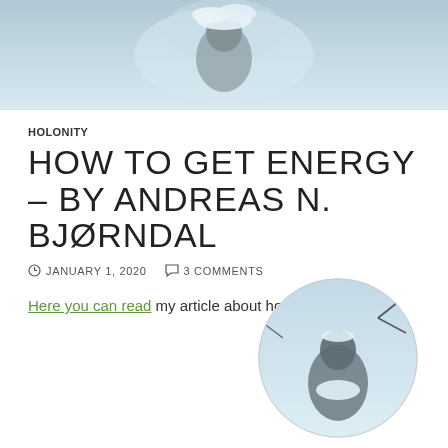[Figure (photo): Hero image showing a snow-covered buddha statue or plant, light blue-grey tones]
HOLONITY
HOW TO GET ENERGY – BY ANDREAS N. BJØRNDAL
JANUARY 1, 2020   3 COMMENTS
Here you can read my article about how to get energy
[Figure (photo): Circular cropped photo of a buddha statue covered in snow with branches]